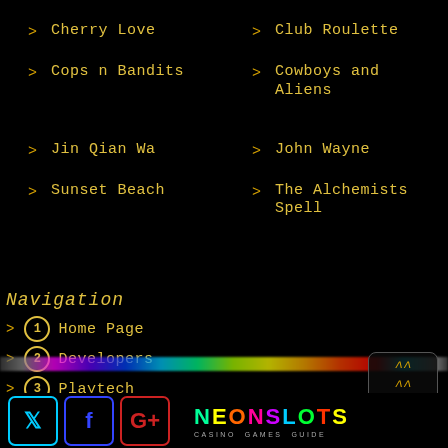> Cherry Love
> Club Roulette
> Cops n Bandits
> Cowboys and Aliens
> Jin Qian Wa
> John Wayne
> Sunset Beach
> The Alchemists Spell
Navigation
1 Home Page
2 Developers
3 Playtech
[Figure (logo): NeonSlots Casino Games Guide logo with social media icons (Twitter, Facebook, Google+)]